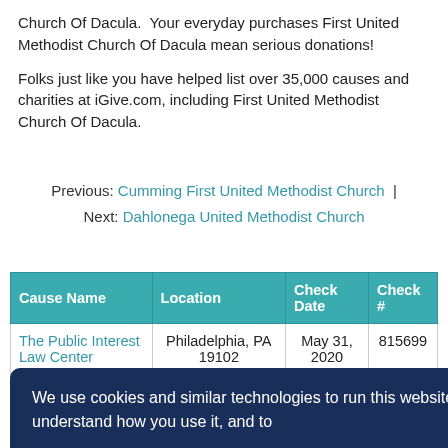Church Of Dacula. Your everyday purchases First United Methodist Church Of Dacula mean serious donations!
Folks just like you have helped list over 35,000 causes and charities at iGive.com, including First United Methodist Church Of Dacula.
Previous: Cumming First United Methodist Church | Next: Dahlonega United Methodist Church
| Cause Name | Location | Check Date | Check # |
| --- | --- | --- | --- |
| The Public Interest Law Center | Philadelphia, PA 19102 | May 31, 2020 | 815699 |
| St. Louis ... | ... | ... | ...70 |
We use cookies and similar technologies to run this website, understand how you use it, and to